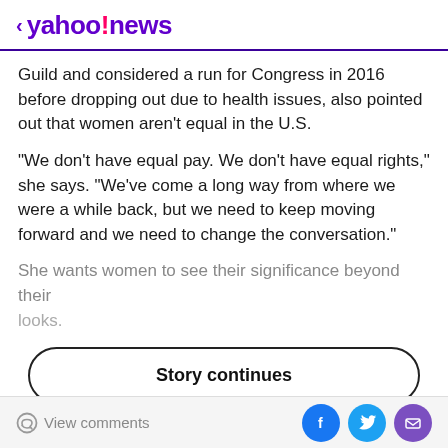< yahoo!news
Guild and considered a run for Congress in 2016 before dropping out due to health issues, also pointed out that women aren't equal in the U.S.
"We don't have equal pay. We don't have equal rights," she says. "We've come a long way from where we were a while back, but we need to keep moving forward and we need to change the conversation."
She wants women to see their significance beyond their looks.
Story continues
View comments